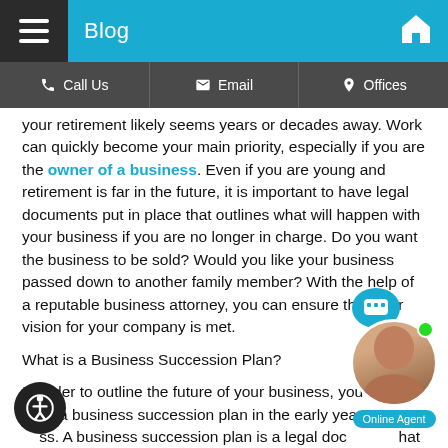Blog
Call Us | Email | Offices
your retirement likely seems years or decades away. Work can quickly become your main priority, especially if you are the owner of a business. Even if you are young and retirement is far in the future, it is important to have legal documents put in place that outlines what will happen with your business if you are no longer in charge. Do you want the business to be sold? Would you like your business passed down to another family member? With the help of a reputable business attorney, you can ensure that your vision for your company is met.
What is a Business Succession Plan?
In order to outline the future of your business, you should build a business succession plan in the early years of your business. A business succession plan is a legal document that guides your company through a change of ownership in the